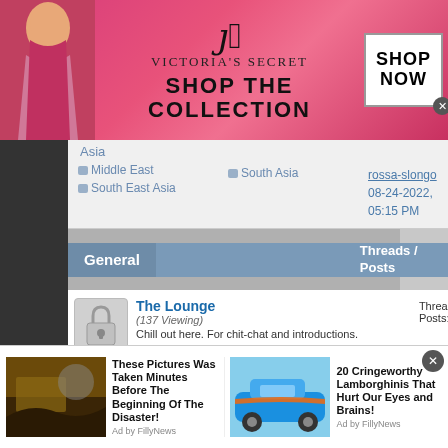[Figure (screenshot): Victoria's Secret advertisement banner with pink background, model, logo, 'SHOP THE COLLECTION' text, and 'SHOP NOW' button]
Asia
Middle East
South East Asia
South Asia
rossa-slongo
08-24-2022, 05:15 PM
General	Threads / Posts	Last Post
The Lounge
(137 Viewing)
Chill out here. For chit-chat and introductions.
Arcade  Celebrities
Threads 11,277
Posts: 123,150
Losing My Mind
by Ellethwyn
Today, 03:05
[Figure (screenshot): Bottom advertisement strip with two ads: 'These Pictures Was Taken Minutes Before The Beginning Of The Disaster!' by FillyNews, and '20 Cringeworthy Lamborghinis That Hurt Our Eyes and Brains!' by FillyNews]